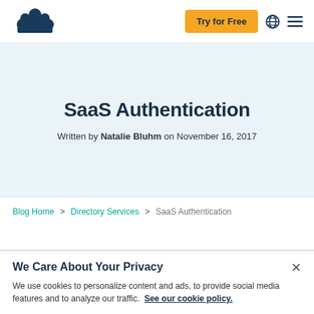Try for Free
SaaS Authentication
Written by Natalie Bluhm on November 16, 2017
Blog Home > Directory Services > SaaS Authentication
We Care About Your Privacy
We use cookies to personalize content and ads, to provide social media features and to analyze our traffic. See our cookie policy.